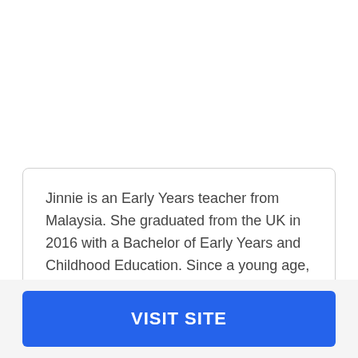Jinnie is an Early Years teacher from Malaysia. She graduated from the UK in 2016 with a Bachelor of Early Years and Childhood Education. Since a young age, she has had great enthusiasm and has always been excited for big adventures.
Why did you choose this program?
VISIT SITE